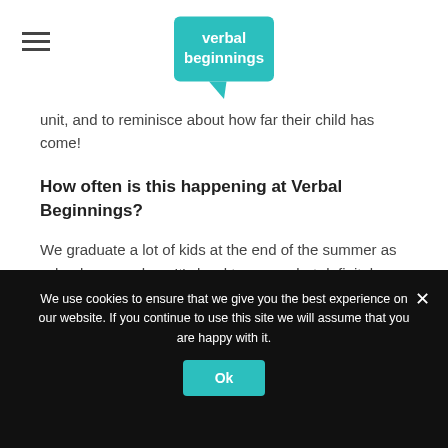verbal beginnings [logo]
unit, and to reminisce about how far their child has come!
How often is this happening at Verbal Beginnings?
We graduate a lot of kids at the end of the summer as school approaches. It's hard to guess, but definitely a handful of kids a year.
We use cookies to ensure that we give you the best experience on our website. If you continue to use this site we will assume that you are happy with it.